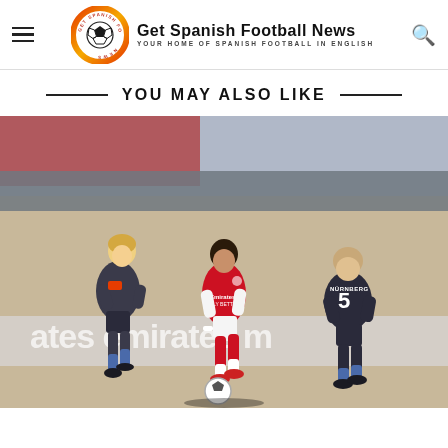Get Spanish Football News — YOUR HOME OF SPANISH FOOTBALL IN ENGLISH
YOU MAY ALSO LIKE
[Figure (photo): An Arsenal player in red Emirates kit dribbling a football between two opposing players in dark grey kits (one wearing number 5 Nürnberg jersey), during a pre-season football match with a crowd in the background.]